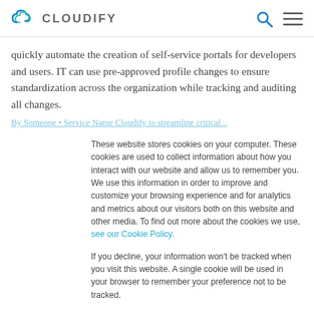CLOUDIFY
quickly automate the creation of self-service portals for developers and users. IT can use pre-approved profile changes to ensure standardization across the organization while tracking and auditing all changes.
These website stores cookies on your computer. These cookies are used to collect information about how you interact with our website and allow us to remember you. We use this information in order to improve and customize your browsing experience and for analytics and metrics about our visitors both on this website and other media. To find out more about the cookies we use, see our Cookie Policy.

If you decline, your information won't be tracked when you visit this website. A single cookie will be used in your browser to remember your preference not to be tracked.
Customize Settings | Accept | Decline